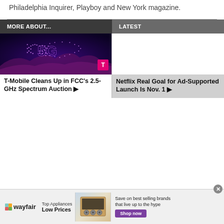Philadelphia Inquirer, Playboy and New York magazine.
MORE ABOUT...
LATEST
[Figure (photo): T-Mobile 5G advertisement image showing a purple light-dot outline of the United States map with '5G' in the center against a dark purple sky background, with T-Mobile logo in lower right.]
T-Mobile Cleans Up in FCC's 2.5-GHz Spectrum Auction ▶
[Figure (photo): White/blank placeholder image for Netflix article.]
Netflix Real Goal for Ad-Supported Launch Is Nov. 1 ▶
[Figure (photo): Wayfair advertisement banner. Wayfair logo on left, 'Top Appliances Low Prices' text, image of a stove/range appliance, and 'Save on best selling brands that live up to the hype' with purple 'Shop now' button.]